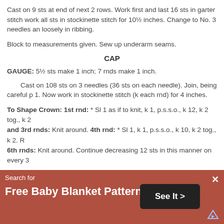Cast on 9 sts at end of next 2 rows. Work first and last 16 sts in garter stitch work all sts in stockinette stitch for 10½ inches. Change to No. 3 needles and loosely in ribbing.
Block to measurements given. Sew up underarm seams.
CAP
GAUGE: 5½ sts make 1 inch; 7 rnds make 1 inch.
Cast on 108 sts on 3 needles (36 sts on each needle). Join, being careful p 1. Now work in stockinette stitch (k each rnd) for 4 inches.
To Shape Crown: 1st rnd: * Sl 1 as if to knit, k 1, p.s.s.o., k 12, k 2 tog., k 2 and 3rd rnds: Knit around. 4th rnd: * Sl 1, k 1, p.s.s.o., k 10, k 2 tog., k 2. R 6th rnds: Knit around. Continue decreasing 12 sts in this manner on every 3
Break yarn, leaving an 8-inch end. Thread needle with this end and run thr securely on wrong side. Turn back cuff.
[Figure (photo): Partial photo of a knitted cap/hat, gray colored, partially visible at the bottom of the content area.]
Search for
Free Baby Blanket Patterns
See It >